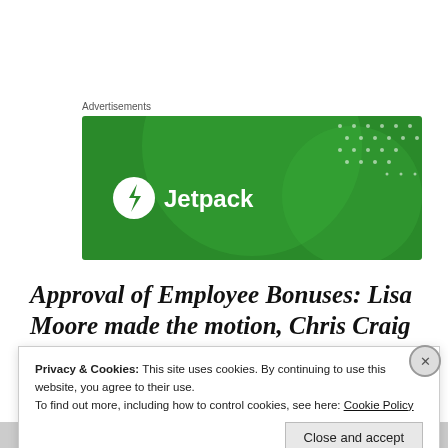Advertisements
[Figure (logo): Jetpack advertisement banner — green background with circular design elements, white Jetpack logo (lightning bolt in circle) and 'Jetpack' wordmark in white]
Approval of Employee Bonuses: Lisa Moore made the motion, Chris Craig
Privacy & Cookies: This site uses cookies. By continuing to use this website, you agree to their use.
To find out more, including how to control cookies, see here: Cookie Policy
Close and accept